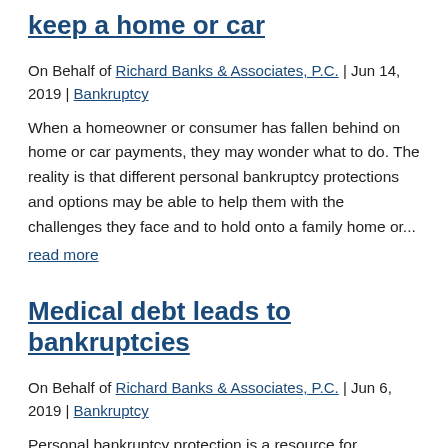keep a home or car
On Behalf of Richard Banks & Associates, P.C. | Jun 14, 2019 | Bankruptcy
When a homeowner or consumer has fallen behind on home or car payments, they may wonder what to do. The reality is that different personal bankruptcy protections and options may be able to help them with the challenges they face and to hold onto a family home or...
read more
Medical debt leads to bankruptcies
On Behalf of Richard Banks & Associates, P.C. | Jun 6, 2019 | Bankruptcy
Personal bankruptcy protection is a resource for consumers dealing with overwhelming medical debt to...